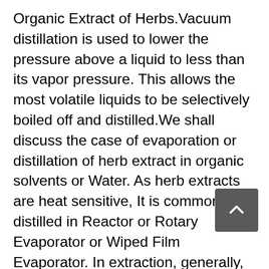Organic Extract of Herbs.Vacuum distillation is used to lower the pressure above a liquid to less than its vapor pressure. This allows the most volatile liquids to be selectively boiled off and distilled.We shall discuss the case of evaporation or distillation of herb extract in organic solvents or Water. As herb extracts are heat sensitive, It is commonly distilled in Reactor or Rotary Evaporator or Wiped Film Evaporator. In extraction, generally, there is a single solvent. So it is to be evaporated in either Rotary Film Evaporator or Wiped Film Evaporator under vacuum
Depending on the availability of Coolant